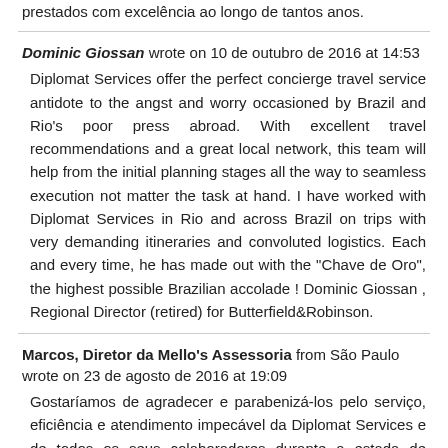prestados com excelência ao longo de tantos anos.
Dominic Giossan wrote on 10 de outubro de 2016 at 14:53
Diplomat Services offer the perfect concierge travel service antidote to the angst and worry occasioned by Brazil and Rio's poor press abroad. With excellent travel recommendations and a great local network, this team will help from the initial planning stages all the way to seamless execution not matter the task at hand. I have worked with Diplomat Services in Rio and across Brazil on trips with very demanding itineraries and convoluted logistics. Each and every time, he has made out with the "Chave de Oro", the highest possible Brazilian accolade ! Dominic Giossan , Regional Director (retired) for Butterfield&Robinson.
Marcos, Diretor da Mello's Assessoria from São Paulo wrote on 23 de agosto de 2016 at 19:09
Gostaríamos de agradecer e parabenizá-los pelo serviço, eficiência e atendimento impecável da Diplomat Services e de todos os seus colaboradores durante a estada de Mr.Lang Lang, um dos maiores pianistas da